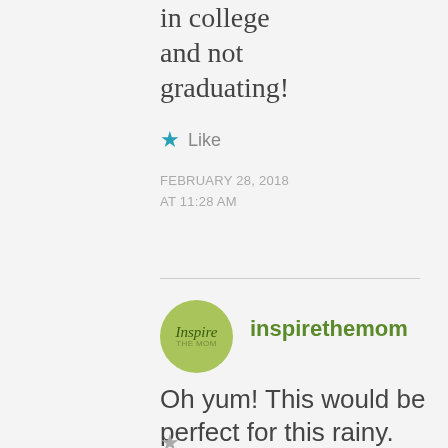in college and not graduating!
★ Like
FEBRUARY 28, 2018
AT 11:28 AM
[Figure (illustration): Green circular avatar logo with cursive text 'Inspire the mom']
inspirethemom
Oh yum! This would be perfect for this rainy. cold day!